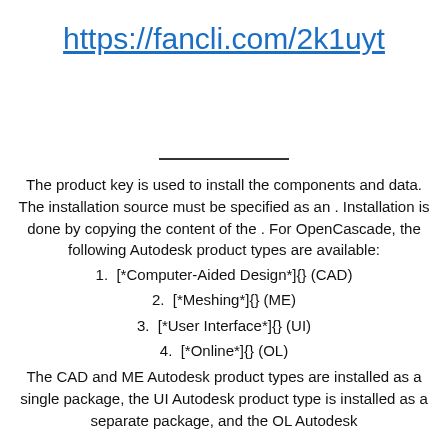https://fancli.com/2k1uyt
The product key is used to install the components and data. The installation source must be specified as an . Installation is done by copying the content of the . For OpenCascade, the following Autodesk product types are available:
1.  [*Computer-Aided Design*]{} (CAD)
2.  [*Meshing*]{} (ME)
3.  [*User Interface*]{} (UI)
4.  [*Online*]{} (OL)
The CAD and ME Autodesk product types are installed as a single package, the UI Autodesk product type is installed as a separate package, and the OL Autodesk